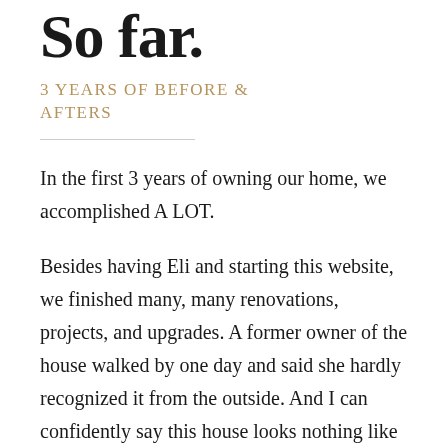So far.
3 YEARS OF BEFORE & AFTERS
In the first 3 years of owning our home, we accomplished A LOT.
Besides having Eli and starting this website, we finished many, many renovations, projects, and upgrades. A former owner of the house walked by one day and said she hardly recognized it from the outside. And I can confidently say this house looks nothing like it did